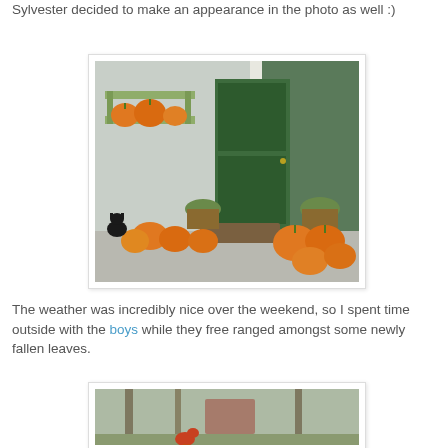Sylvester decided to make an appearance in the photo as well :)
[Figure (photo): Front porch decorated with multiple orange pumpkins of various sizes around a bench and doorway with a green door]
The weather was incredibly nice over the weekend, so I spent time outside with the boys while they free ranged amongst some newly fallen leaves.
[Figure (photo): Outdoor scene with trees and blurred background showing a chicken or bird in a yard with fallen leaves]